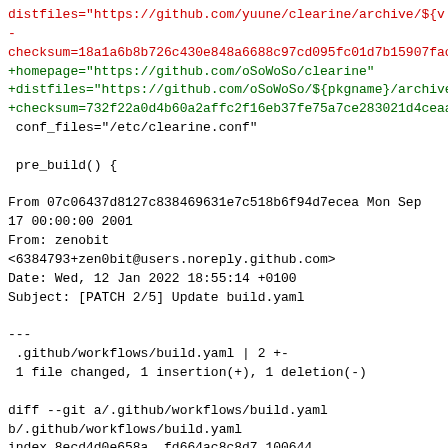distfiles="https://github.com/yuune/clearine/archive/${v
-
checksum=18a1a6b8b726c430e848a6688c97cd095fc01d7b15907fac
+homepage="https://github.com/oSoWoSo/clearine"
+distfiles="https://github.com/oSoWoSo/${pkgname}/archive
+checksum=732f22a0d4b60a2affc2f16eb37fe75a7ce283021d4ceaa
 conf_files="/etc/clearine.conf"

 pre_build() {

From 07c06437d8127c838469631e7c518b6f94d7ecea Mon Sep
17 00:00:00 2001
From: zenobit
<6384793+zen0bit@users.noreply.github.com>
Date: Wed, 12 Jan 2022 18:55:14 +0100
Subject: [PATCH 2/5] Update build.yaml

---
 .github/workflows/build.yaml | 2 +-
 1 file changed, 1 insertion(+), 1 deletion(-)

diff --git a/.github/workflows/build.yaml
b/.github/workflows/build.yaml
index 8ecd4d0e658a..fd664ac8c8d7 100644
--- a/.github/workflows/build.yaml
+++ b/.github/workflows/build.yaml
@@ -30,7 +30,7 @@ jobs:
       if: "!contains(github.event.pull_request.title,
 '[ci skip]') &&
 !contains(github.event.pull_request.body, '[ci skip]')"